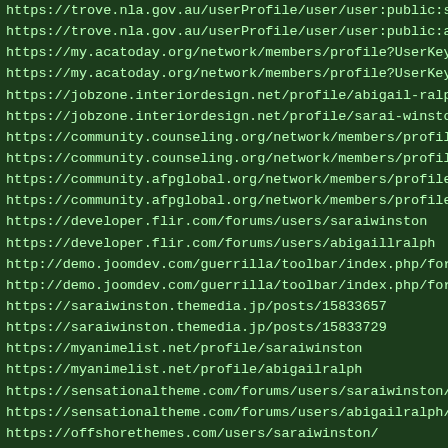https://trove.nla.gov.au/userProfile/user/user:public:sarai
https://trove.nla.gov.au/userProfile/user/user:public:abiga
https://my.acatoday.org/network/members/profile?UserKey=f68
https://my.acatoday.org/network/members/profile?UserKey=bac
https://jobzone.interiordesign.net/profile/abigail-ralph/15
https://jobzone.interiordesign.net/profile/sarai-winston/15
https://community.counseling.org/network/members/profile?Us
https://community.counseling.org/network/members/profile?Us
https://community.afpglobal.org/network/members/profile?Use
https://community.afpglobal.org/network/members/profile?Use
https://developer.flir.com/forums/users/saraiwinston
https://developer.flir.com/forums/users/abigaillralph
http://demo.joomdev.com/guerrilla/toolbar/index.php/forum-m
http://demo.joomdev.com/guerrilla/toolbar/index.php/forum-m
https://saraiwinston.themedia.jp/posts/15833657
https://saraiwinston.themedia.jp/posts/15833729
https://myanimelist.net/profile/saraiwinston
https://myanimelist.net/profile/abigailralph
https://sensationaltheme.com/forums/users/saraiwinston/
https://sensationaltheme.com/forums/users/abigailralph/
https://offshorethemes.com/users/saraiwinston/
https://offshorethemes.com/users/abigaillralph/
https://networks.aamft.org/network/members/profile?UserKey=
https://networks.aamft.org/network/members/profile?UserKey=
https://engage.aiaa.org/network/members/profile?UserKey=653
https://engage.aiaa.org/network/members/profile?UserKey=60e
https://www.papyrus-uk.org/forums/users/saraiwinston/
https://www.papyrus-uk.org/forums/users/abigailralph/
https://saraiwinston.puzl.com/
https://saraiwinston.puzl.com/contacts